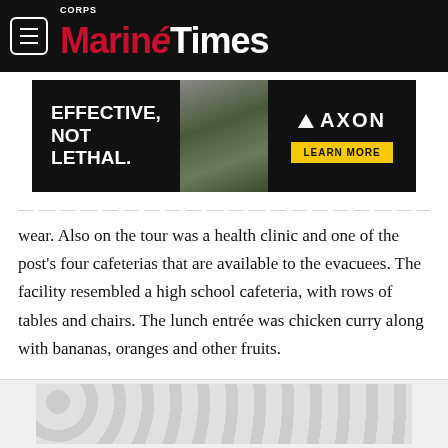Marine Corps Times
[Figure (other): AXON advertisement banner: 'EFFECTIVE, NOT LETHAL.' with soldier image and 'LEARN MORE' button]
wear. Also on the tour was a health clinic and one of the post's four cafeterias that are available to the evacuees. The facility resembled a high school cafeteria, with rows of tables and chairs. The lunch entrée was chicken curry along with bananas, oranges and other fruits.
[Figure (other): Bottom advertisement placeholder with circular pattern background]